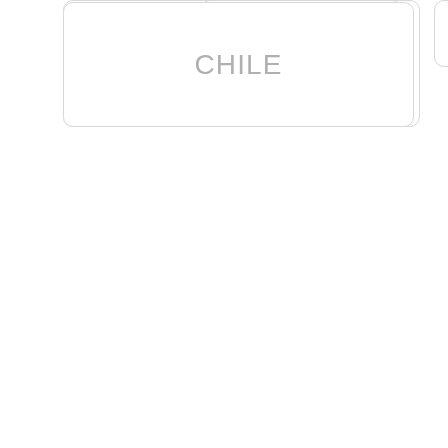CHILE
CHILE PEPPER
CHILE PEPPERS
CHILES
CHILI
CHILLI
CHIPOTLE
CHOCOLATE
CHRISTMAS
COOKING
CURRIES
DAVE DEWITT
FISH
CURRY
GREEN CHILE